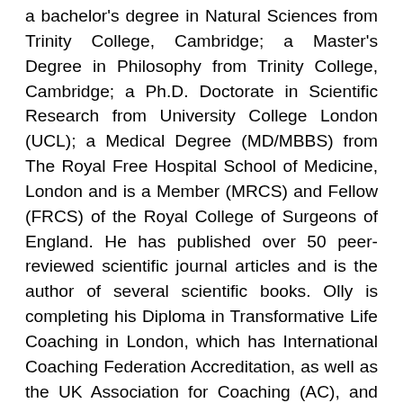a bachelor's degree in Natural Sciences from Trinity College, Cambridge; a Master's Degree in Philosophy from Trinity College, Cambridge; a Ph.D. Doctorate in Scientific Research from University College London (UCL); a Medical Degree (MD/MBBS) from The Royal Free Hospital School of Medicine, London and is a Member (MRCS) and Fellow (FRCS) of the Royal College of Surgeons of England. He has published over 50 peer-reviewed scientific journal articles and is the author of several scientific books. Olly is completing his Diploma in Transformative Life Coaching in London, which has International Coaching Federation Accreditation, as well as the UK Association for Coaching (AC), and the European Mentoring and Coaching Council (EMCC). He attended the Ultimate Coach conference with Steve Hardison, the world's number one life coach, in London in April 2022. His gift is to be the client's guide on their journey; he offers a free one-hour coaching session. Services: Transformative Life Coaching, Transformational Coaching, Life Coaching, Personal Coaching, Positive Psychology Coaching, Recovery Coaching, Trauma-